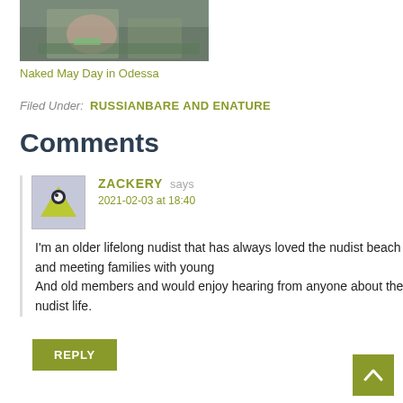[Figure (photo): Partial view of people at a beach, cropped at top]
Naked May Day in Odessa
Filed Under: RUSSIANBARE AND ENATURE
Comments
ZACKERY says
2021-02-03 at 18:40

I'm an older lifelong nudist that has always loved the nudist beach and meeting families with young
And old members and would enjoy hearing from anyone about the nudist life.
REPLY